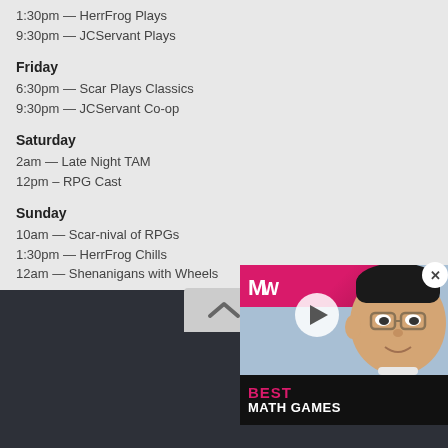1:30pm — HerrFrog Plays
9:30pm — JCServant Plays
Friday
6:30pm — Scar Plays Classics
9:30pm — JCServant Co-op
Saturday
2am — Late Night TAM
12pm – RPG Cast
Sunday
10am — Scar-nival of RPGs
1:30pm — HerrFrog Chills
12am — Shenanigans with Wheels
[Figure (screenshot): Video advertisement overlay for 'Best Math Games' featuring a cartoon character with glasses and a pink/crimson MW logo banner, with a play button in the center]
© 2022 RPGamer - Man...
[Figure (infographic): Social media icons: Twitter, Facebook, YouTube, Twitch, Discord, RSS feed]